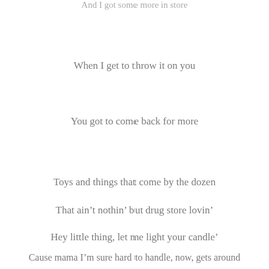And I got some more in store
When I get to throw it on you
You got to come back for more
Toys and things that come by the dozen
That ain't nothin' but drug store lovin'
Hey little thing, let me light your candle'
Cause mama I'm sure hard to handle, now, gets around